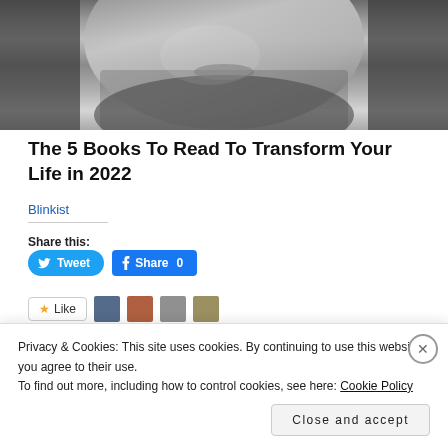[Figure (photo): Black and white close-up photo of a man's face showing beard and lower face]
The 5 Books To Read To Transform Your Life in 2022
Blinkist
Share this:
Tweet
Share 0
Like
Privacy & Cookies: This site uses cookies. By continuing to use this website, you agree to their use.
To find out more, including how to control cookies, see here: Cookie Policy
Close and accept